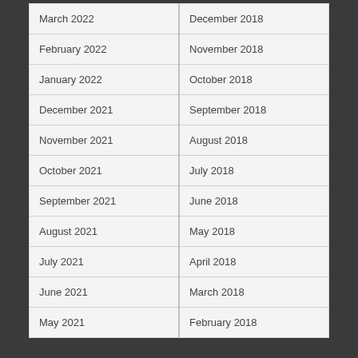| March 2022 | December 2018 |
| February 2022 | November 2018 |
| January 2022 | October 2018 |
| December 2021 | September 2018 |
| November 2021 | August 2018 |
| October 2021 | July 2018 |
| September 2021 | June 2018 |
| August 2021 | May 2018 |
| July 2021 | April 2018 |
| June 2021 | March 2018 |
| May 2021 | February 2018 |